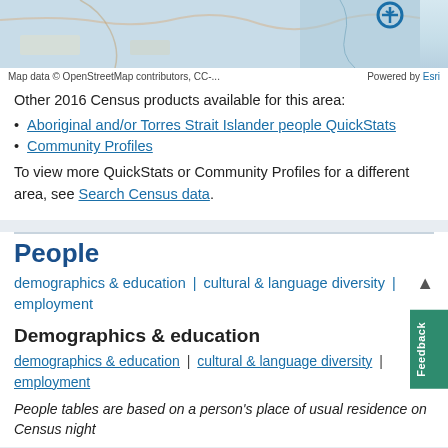[Figure (map): Map showing a geographic area with OpenStreetMap data, partial view at top of page]
Map data © OpenStreetMap contributors, CC-...   Powered by Esri
Other 2016 Census products available for this area:
Aboriginal and/or Torres Strait Islander people QuickStats
Community Profiles
To view more QuickStats or Community Profiles for a different area, see Search Census data.
People
demographics & education | cultural & language diversity | employment
Demographics & education
demographics & education | cultural & language diversity | employment
People tables are based on a person's place of usual residence on Census night